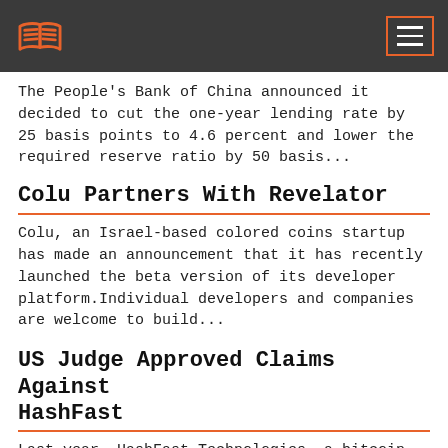[Logo and menu button]
The People's Bank of China announced it decided to cut the one-year lending rate by 25 basis points to 4.6 percent and lower the required reserve ratio by 50 basis...
Colu Partners With Revelator
Colu, an Israel-based colored coins startup has made an announcement that it has recently launched the beta version of its developer platform.Individual developers and companies are welcome to build...
US Judge Approved Claims Against HashFast
Last year, HashFast Technologies, a bitcoin equipment manufacturer went into bankruptcy and from then onwards the company has been surrounded by a number of legal troubles.The company filed for bankruptcy...
Bitcoin Wallet 37Coins To Shut Down